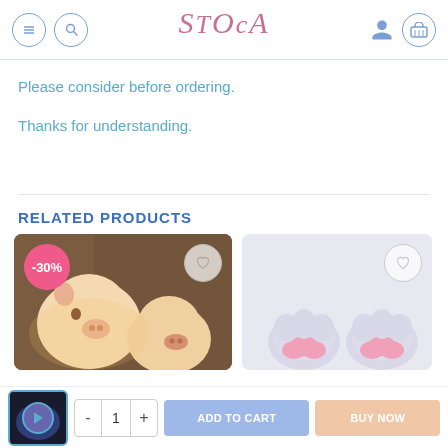[Figure (screenshot): STOCA e-commerce website header with menu, search, logo, user, and cart icons]
Please consider before ordering.
Thanks for understanding.
RELATED PRODUCTS
[Figure (photo): Product card showing pig-shaped night lamps with -30% badge and wishlist icon]
[Figure (photo): Product card showing bunny/rabbit paw shaped item with wishlist icon]
[Figure (screenshot): Bottom bar with product thumbnail, quantity controls (-/1/+), ADD TO CART and BUY NOW buttons]